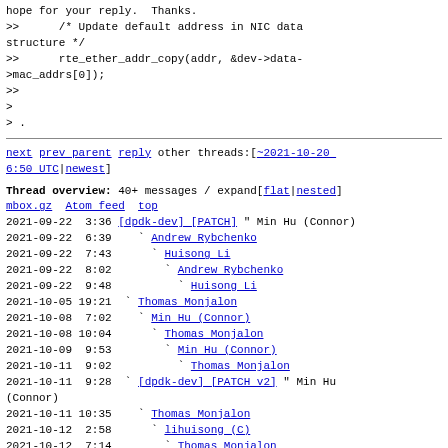hope for your reply. Thanks.
>>      /* Update default address in NIC data structure */
>>      rte_ether_addr_copy(addr, &dev->data->mac_addrs[0]);
>>
>
> .
next prev parent reply  other threads:[~2021-10-20 6:50 UTC|newest]
Thread overview: 40+ messages / expand[flat|nested]
mbox.gz  Atom feed  top
2021-09-22  3:36  [dpdk-dev] [PATCH]  " Min Hu (Connor)
2021-09-22  6:39    ` Andrew Rybchenko
2021-09-22  7:43      ` Huisong Li
2021-09-22  8:02        ` Andrew Rybchenko
2021-09-22  9:48          ` Huisong Li
2021-10-05 19:21  ` Thomas Monjalon
2021-10-08  7:02    ` Min Hu (Connor)
2021-10-08 10:04      ` Thomas Monjalon
2021-10-09  9:53        ` Min Hu (Connor)
2021-10-11  9:02          ` Thomas Monjalon
2021-10-11  9:28  ` [dpdk-dev] [PATCH v2]  " Min Hu (Connor)
2021-10-11 10:35    ` Thomas Monjalon
2021-10-12  2:58      ` lihuisong (C)
2021-10-12  7:14        ` Thomas Monjalon
2021-10-15  2:00          ` lihuisong (C)